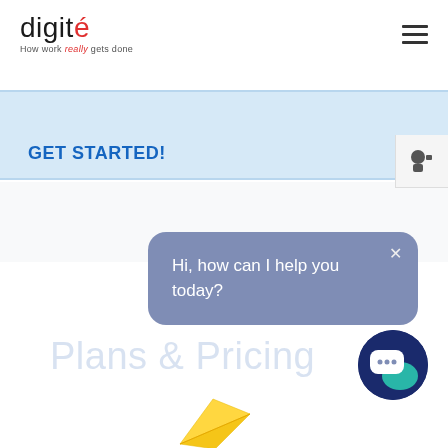[Figure (logo): Digite logo with tagline 'How work really gets done']
[Figure (other): Hamburger menu icon (three horizontal lines)]
GET STARTED!
[Figure (screenshot): Chat popup bubble with text: Hi, how can I help you today? with close X button]
Plans & Pricing
[Figure (other): Dark blue circle chat icon with speech bubble and teal accent]
[Figure (illustration): Yellow paper plane illustration at bottom center]